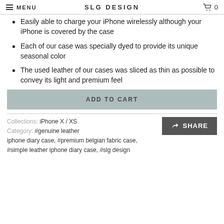MENU | SLG DESIGN | 0
Easily able to charge your iPhone wirelessly although your iPhone is covered by the case
Each of our case was specially dyed to provide its unique seasonal color
The used leather of our cases was sliced as thin as possible to convey its light and premium feel
ADD TO CART
Collections: iPhone X / XS
Category: #genuine leather iphone diary case, #premium belgian fabric case, #simple leather iphone diary case, #slg design